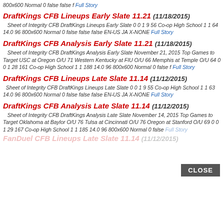800x600 Normal 0 false false f Full Story
DraftKings CFB Lineups Early Slate 11.21 (11/18/2015)
Sheet of Integrity CFB DraftKings Lineups Early Slate 0 0 1 9 56 Co-op High School 1 1 64 14.0 96 800x600 Normal 0 false false false EN-US JA X-NONE Full Story
DraftKings CFB Analysis Early Slate 11.21 (11/18/2015)
Sheet of Integrity CFB DraftKings Analysis Early Slate November 21, 2015 Top Games to Target USC at Oregon O/U 71 Western Kentucky at FIU O/U 66 Memphis at Temple O/U 64 0 0 1 28 161 Co-op High School 1 1 188 14.0 96 800x600 Normal 0 false f Full Story
DraftKings CFB Lineups Late Slate 11.14 (11/12/2015)
Sheet of Integrity CFB DraftKings Lineups Late Slate 0 0 1 9 55 Co-op High School 1 1 63 14.0 96 800x600 Normal 0 false false false EN-US JA X-NONE Full Story
DraftKings CFB Analysis Late Slate 11.14 (11/12/2015)
Sheet of Integrity CFB DraftKings Analysis Late Slate November 14, 2015 Top Games to Target Oklahoma at Baylor O/U 76 Tulsa at Cincinnati O/U 76 Oregon at Stanford O/U 69 0 0 1 29 167 Co-op High School 1 1 185 14.0 96 800x600 Normal 0 false Full Story
FanDuel CFB Lineups Late Slate 11.14 (11/12/2015)